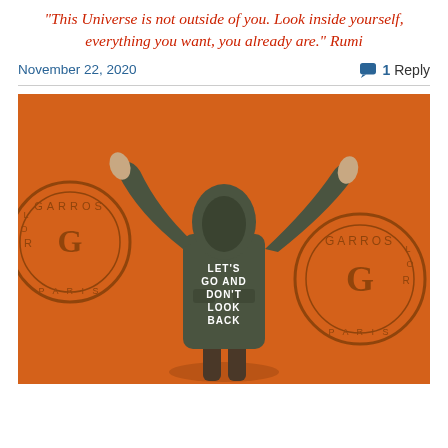"This Universe is not outside of you. Look inside yourself, everything you want, you already are." Rumi
November 22, 2020
1 Reply
[Figure (photo): Person from behind with arms raised wide against an orange wall, wearing a dark olive hooded jacket with text 'LET'S GO AND DON'T LOOK BACK' printed on the back. Two Roland Garros circular logo stamps are visible on the orange wall.]